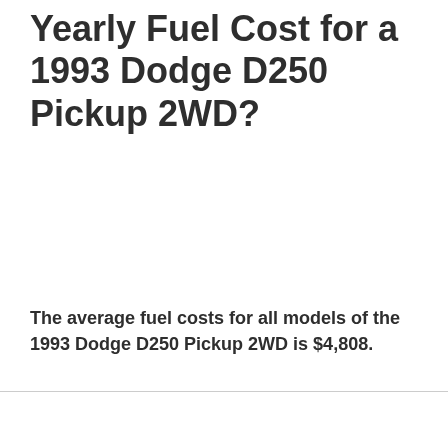What Is the Average Yearly Fuel Cost for a 1993 Dodge D250 Pickup 2WD?
The average fuel costs for all models of the 1993 Dodge D250 Pickup 2WD is $4,808.